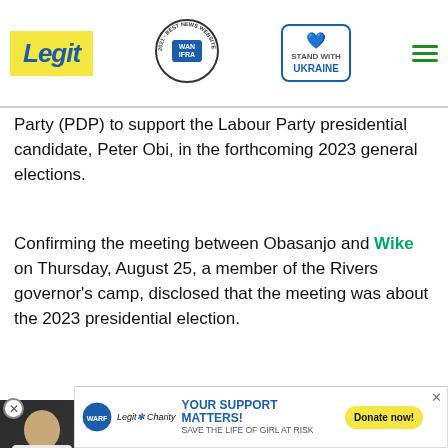Legit | WAN-IFRA 2021 Best News Website in Africa | Stand with Ukraine
Party (PDP) to support the Labour Party presidential candidate, Peter Obi, in the forthcoming 2023 general elections.
Confirming the meeting between Obasanjo and Wike on Thursday, August 25, a member of the Rivers governor's camp, disclosed that the meeting was about the 2023 presidential election.
[Figure (screenshot): Advertisement section showing a video player with two people in white clothing and a pink play button overlay with text 'COSMIC INTERVENTION', with a red chevron/scroll button below]
[Figure (screenshot): Charity banner ad: Legit Charity - YOUR SUPPORT MATTERS! SAVE THE LIFE OF GIRL AT RISK with a yellow Donate now! button, WARF logo on left, close X button on right]